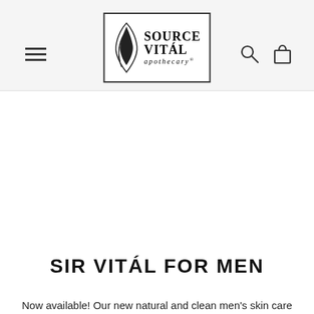Source Vitál Apothecary — navigation header with logo, hamburger menu, search and cart icons
SIR VITÁL FOR MEN
Now available! Our new natural and clean men's skin care